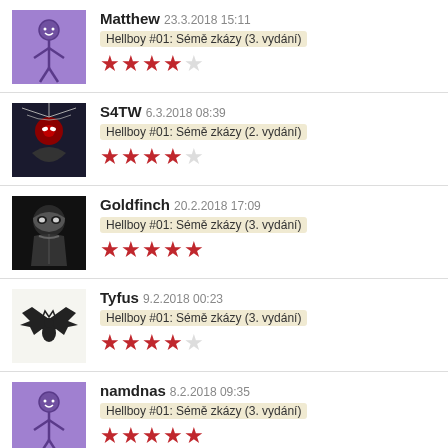Matthew 23.3.2018 15:11 Hellboy #01: Sémě zkázy (3. vydání) ★★★★☆
S4TW 6.3.2018 08:39 Hellboy #01: Sémě zkázy (2. vydání) ★★★★☆
Goldfinch 20.2.2018 17:09 Hellboy #01: Sémě zkázy (3. vydání) ★★★★★
Tyfus 9.2.2018 00:23 Hellboy #01: Sémě zkázy (3. vydání) ★★★★☆
namdnas 8.2.2018 09:35 Hellboy #01: Sémě zkázy (3. vydání) ★★★★★